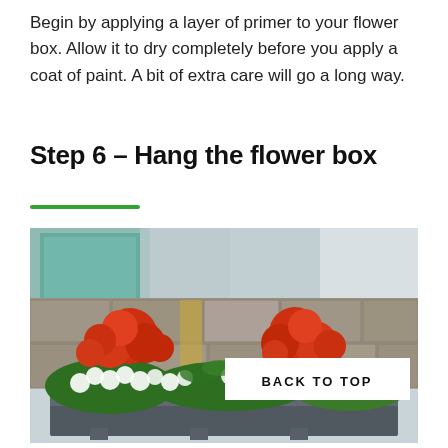Begin by applying a layer of primer to your flower box. Allow it to dry completely before you apply a coat of paint. A bit of extra care will go a long way.
Step 6 – Hang the flower box
[Figure (photo): A flower box mounted on a stone wall, filled with red and white flowers (begonias and alyssum) in a dark grey planter. A window is visible in the background. A white 'BACK TO TOP' button overlay appears in the lower right of the image.]